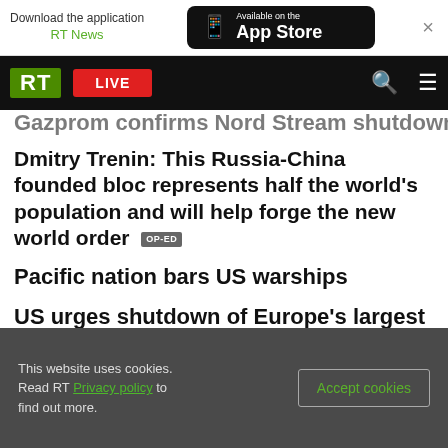[Figure (screenshot): App Store download banner with RT News label and close button]
[Figure (screenshot): RT navigation bar with green RT logo, LIVE red button, search and hamburger menu icons]
Gazprom confirms Nord Stream shutdown
Dmitry Trenin: This Russia-China founded bloc represents half the world's population and will help forge the new world order OP-ED
Pacific nation bars US warships
US urges shutdown of Europe's largest nuclear plant
EU states oppose full Russian visa ban – Politico
This website uses cookies. Read RT Privacy policy to find out more.